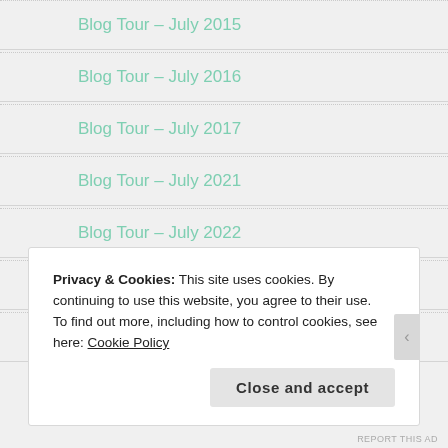Blog Tour – July 2015
Blog Tour – July 2016
Blog Tour – July 2017
Blog Tour – July 2021
Blog Tour – July 2022
Blog Tour – June 2015
Blog Tour – June 2017
Privacy & Cookies: This site uses cookies. By continuing to use this website, you agree to their use.
To find out more, including how to control cookies, see here: Cookie Policy
Close and accept